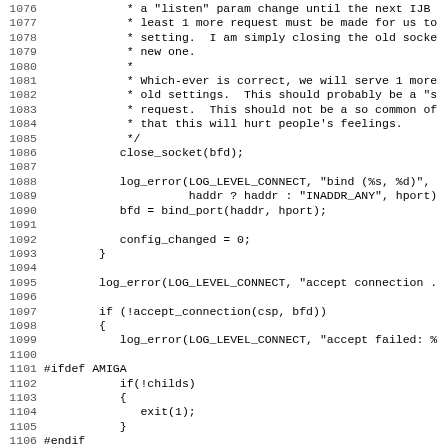[Figure (other): Source code listing (C) lines 1076-1107 showing socket handling logic with comments, close_socket, log_error, bind_port, config_changed, accept_connection, and #ifdef AMIGA preprocessor block]